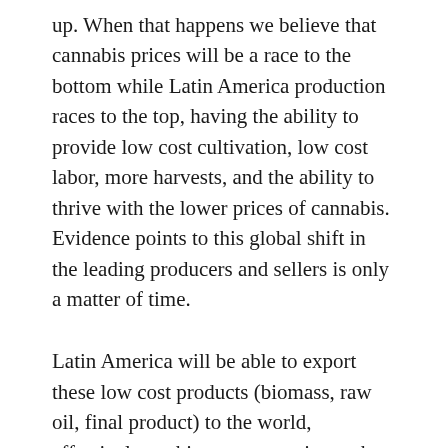up. When that happens we believe that cannabis prices will be a race to the bottom while Latin America production races to the top, having the ability to provide low cost cultivation, low cost labor, more harvests, and the ability to thrive with the lower prices of cannabis.  Evidence points to this global shift in the leading producers and sellers is only a matter of time.
Latin America will be able to export these low cost products (biomass, raw oil, final product) to the world, effectively pushing out countries such as Canada who will not be able to compete with the low costs. When the regulations catch up in Latin America, the whole cannabis game will change and anyone involved in the